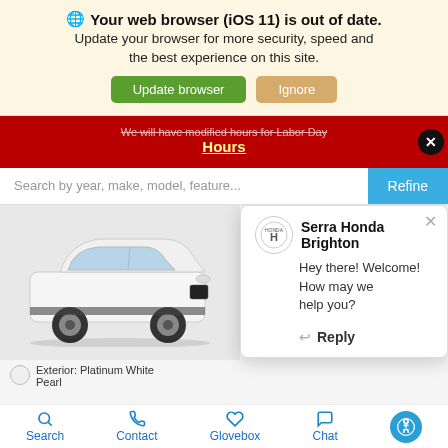🌐 Your web browser (iOS 11) is out of date. Update your browser for more security, speed and the best experience on this site.
Update browser | Ignore
We will have modified hours for Labor Day  View Hours
[Figure (screenshot): Search bar with placeholder text 'Search by year, make, model, feature...' and a blue 'Refine' button]
[Figure (photo): White Honda SUV (Passport or Pilot) facing left]
Serra Honda Brighton
Hey there! Welcome! How may we help you?
← Reply
Exterior: Platinum White Pearl
Search  Contact  Glovebox  Chat  [accessibility icon]